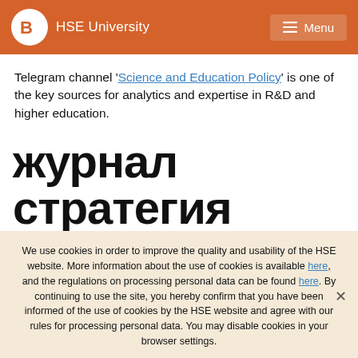HSE University | Menu
Telegram channel 'Science and Education Policy' is one of the key sources for analytics and expertise in R&D and higher education.
журнал стратегия
We use cookies in order to improve the quality and usability of the HSE website. More information about the use of cookies is available here, and the regulations on processing personal data can be found here. By continuing to use the site, you hereby confirm that you have been informed of the use of cookies by the HSE website and agree with our rules for processing personal data. You may disable cookies in your browser settings.